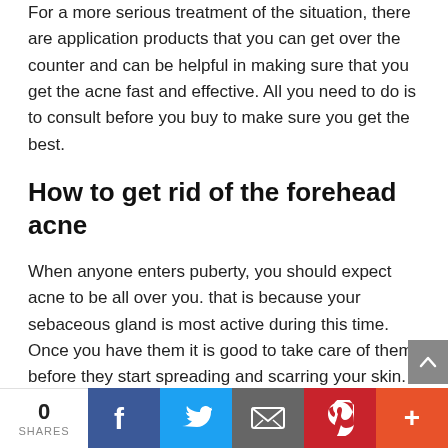For a more serious treatment of the situation, there are application products that you can get over the counter and can be helpful in making sure that you get the acne fast and effective. All you need to do is to consult before you buy to make sure you get the best.
How to get rid of the forehead acne
When anyone enters puberty, you should expect acne to be all over you. that is because your sebaceous gland is most active during this time. Once you have them it is good to take care of them before they start spreading and scarring your skin.
0 SHARES | Facebook | Twitter | Email | Pinterest | More